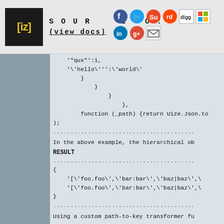SOURCE (view docs) [with social share icons]
'"qux"':1,
    '\'hello\'':'\'world\'
}
    }
        }
            },
function (_path) {return Uize.Json.to
);
....................................................
In the above example, the hierarchical ob
RESULT
....................................................
{
    '[\'foo.foo\',\'bar:bar\',\'baz|baz\',\
    '[\'foo.foo\',\'bar:bar\',\'baz|baz\',\
}
....................................................
Using a custom path-to-key transformer fu
If there's no way of knowing what charact
To Unflatten, Specify a Parser / De-seria
Whereas, when using custom path delim